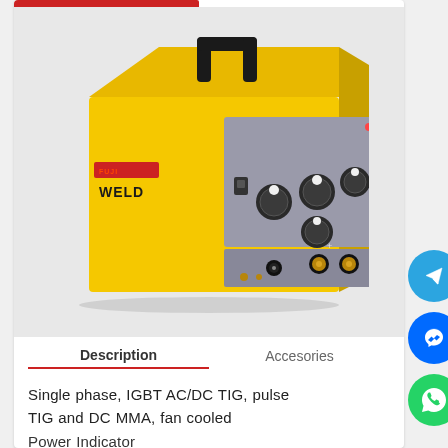[Figure (photo): Yellow FUJI WELD welding machine (IGBT AC/DC TIG welder) with black handle on top, control panel with knobs and switches on the front face, and connection ports at the bottom]
Description | Accesories
Single phase, IGBT AC/DC TIG, pulse TIG and DC MMA, fan cooled
Power Indicator